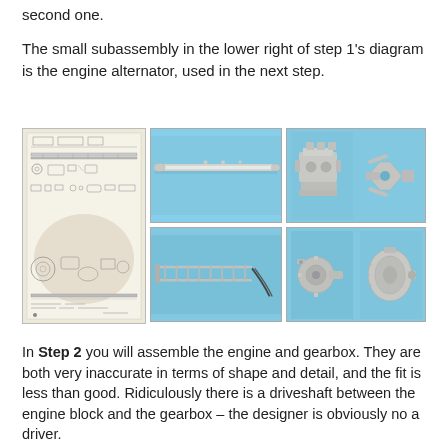second one.
The small subassembly in the lower right of step 1's diagram is the engine alternator, used in the next step.
[Figure (photo): Three-panel photo collage showing: (left) a black-and-white assembly diagram/instruction sheet for a model kit; (center) two photos of grey plastic model parts including a long frame piece and a ladder-like structure on a light blue background; (right) four photos of grey plastic engine/mechanical model parts including an engine block, a crankshaft/bracket piece, a gear component, and a cylindrical alternator part, all on blue background.]
In Step 2 you will assemble the engine and gearbox. They are both very inaccurate in terms of shape and detail, and the fit is less than good. Ridiculously there is a driveshaft between the engine block and the gearbox – the designer is obviously no a driver.